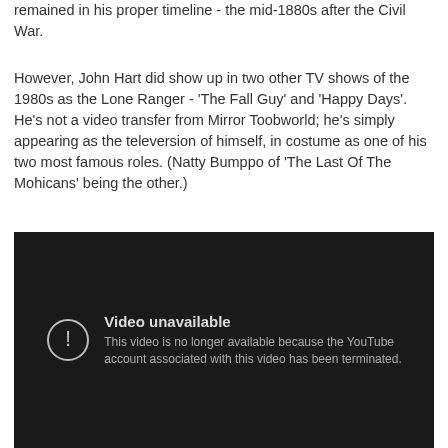remained in his proper timeline - the mid-1880s after the Civil War.
However, John Hart did show up in two other TV shows of the 1980s as the Lone Ranger - 'The Fall Guy' and 'Happy Days'. He's not a video transfer from Mirror Toobworld; he's simply appearing as the televersion of himself, in costume as one of his two most famous roles. (Natty Bumppo of 'The Last Of The Mohicans' being the other.)
[Figure (screenshot): Embedded YouTube video player showing 'Video unavailable' message: 'This video is no longer available because the YouTube account associated with this video has been terminated.']